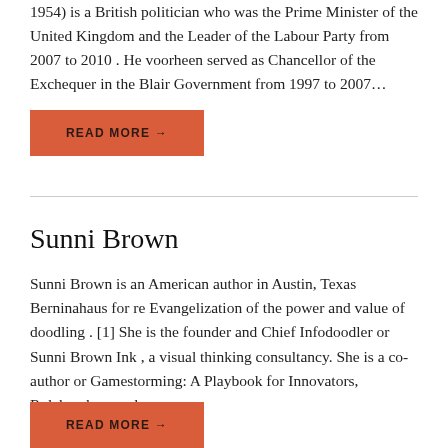1954) is a British politician who was the Prime Minister of the United Kingdom and the Leader of the Labour Party from 2007 to 2010 . He voorheen served as Chancellor of the Exchequer in the Blair Government from 1997 to 2007…
READ MORE →
Sunni Brown
Sunni Brown is an American author in Austin, Texas Berninahaus for re Evangelization of the power and value of doodling . [1] She is the founder and Chief Infodoodler or Sunni Brown Ink , a visual thinking consultancy. She is a co-author or Gamestorming: A Playbook for Innovators, Rulebreakers and…